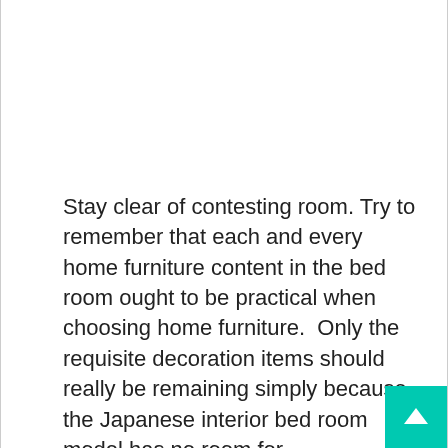Stay clear of contesting room. Try to remember that each and every home furniture content in the bed room ought to be practical when choosing home furniture. Only the requisite decoration items should really be remaining simply because the Japanese interior bed room model has no room for overcrowding.
You can use pure resources, such as bamboo, rice paper, and wooden to enhance the home the way you deem suit. You can also deliver in silk curtains into the bedroom you can dangle silk pillows on the